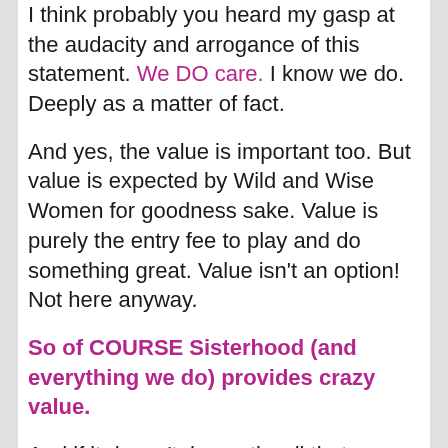I think probably you heard my gasp at the audacity and arrogance of this statement. We DO care. I know we do. Deeply as a matter of fact.
And yes, the value is important too. But value is expected by Wild and Wise Women for goodness sake. Value is purely the entry fee to play and do something great. Value isn’t an option!  Not here anyway.
So of COURSE Sisterhood (and everything we do) provides crazy value.
And if it doesn’t, honestly, all that means is that someone is in the wrong place. That we aren’t a fit. That’s ok. That happens. We want you to find the place where you ARE of friends with the